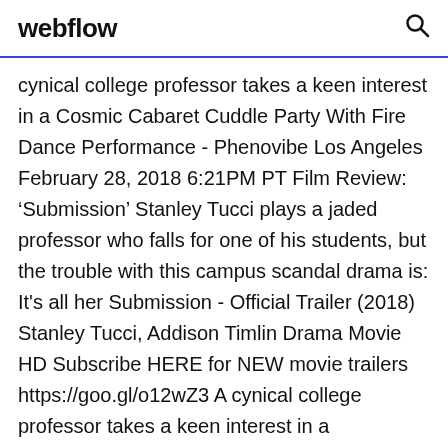webflow
cynical college professor takes a keen interest in a Cosmic Cabaret Cuddle Party With Fire Dance Performance - Phenovibe Los Angeles February 28, 2018 6:21PM PT Film Review: ‘Submission’ Stanley Tucci plays a jaded professor who falls for one of his students, but the trouble with this campus scandal drama is: It's all her Submission - Official Trailer (2018) Stanley Tucci, Addison Timlin Drama Movie HD Subscribe HERE for NEW movie trailers https://goo.gl/o12wZ3 A cynical college professor takes a keen interest in a
Download Submission 2018 torrent or any other torrent from Video > Movies Direct download